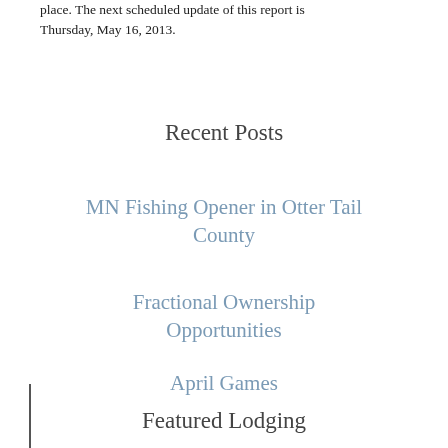place. The next scheduled update of this report is Thursday, May 16, 2013.
Recent Posts
MN Fishing Opener in Otter Tail County
Fractional Ownership Opportunities
April Games
Featured Lodging